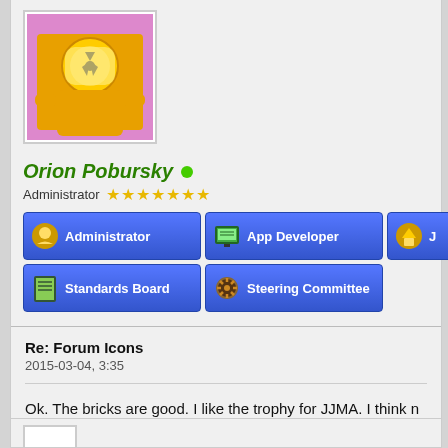[Figure (photo): Avatar of a LEGO minifigure in a yellow hazmat suit with a radiation symbol, against a pink/purple background]
Orion Pobursky
Administrator ★★★★★★★
[Figure (infographic): Blue badge button: Administrator with gold key icon]
[Figure (infographic): Blue badge button: App Developer with green computer icon]
[Figure (infographic): Blue badge button: J... (partially visible) with gold trophy icon]
[Figure (infographic): Blue badge button: Standards Board with book/circuit icon]
[Figure (infographic): Blue badge button: Steering Committee with helm wheel icon]
Re: Forum Icons
2015-03-04, 3:35
Ok. The bricks are good. I like the trophy for JJMA. I think n and replace them with the icons.
Find